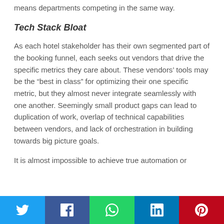means departments competing in the same way.
Tech Stack Bloat
As each hotel stakeholder has their own segmented part of the booking funnel, each seeks out vendors that drive the specific metrics they care about. These vendors' tools may be the “best in class” for optimizing their one specific metric, but they almost never integrate seamlessly with one another. Seemingly small product gaps can lead to duplication of work, overlap of technical capabilities between vendors, and lack of orchestration in building towards big picture goals.
It is almost impossible to achieve true automation or
[Figure (infographic): Social media sharing bar with five buttons: Twitter (blue), Facebook (dark blue), WhatsApp (green), LinkedIn (blue), Pinterest (red), each showing its respective icon.]